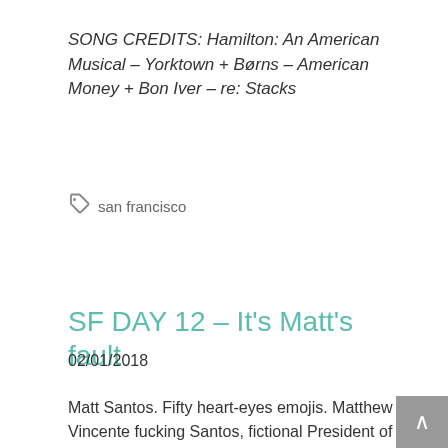SONG CREDITS: Hamilton: An American Musical – Yorktown + Børns – American Money + Bon Iver – re: Stacks
san francisco
SF DAY 12 – It's Matt's fault
02/01/2018
Matt Santos. Fifty heart-eyes emojis. Matthew Vincente fucking Santos, fictional President of the United States. Texas-native Latino Democrat with the beautiful wife and the perfect children. Modeled after the then promising Senator Obama. Man of my dreams, intergenerational